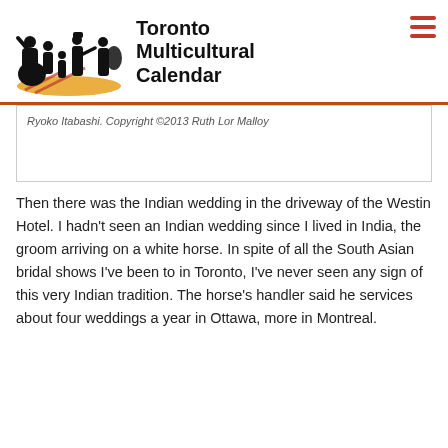Toronto Multicultural Calendar
Ryoko Itabashi. Copyright ©2013 Ruth Lor Malloy
Then there was the Indian wedding in the driveway of the Westin Hotel. I hadn't seen an Indian wedding since I lived in India, the groom arriving on a white horse. In spite of all the South Asian bridal shows I've been to in Toronto, I've never seen any sign of this very Indian tradition. The horse's handler said he services about four weddings a year in Ottawa, more in Montreal.